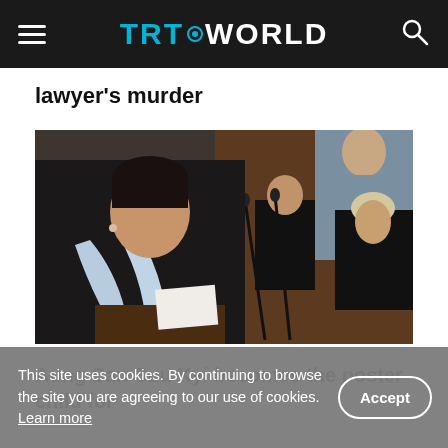TRT WORLD
lawyer's murder
[Figure (photo): Aung San Suu Kyi speaking at a podium in a formal setting, surrounded by other officials in dark suits. A uniformed officer is visible in the background.]
Aung San Suu Kyi becomes the poster child for
This site uses cookies. By continuing to browse the site you are agreeing to our use of cookies. Learn more